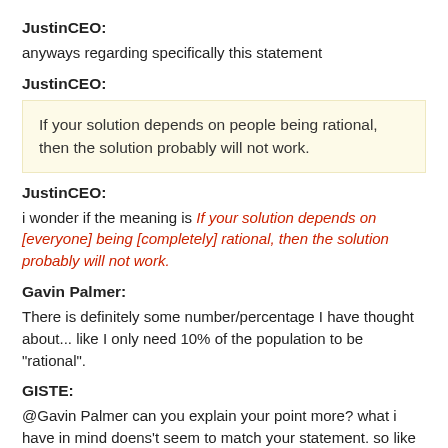JustinCEO:
anyways regarding specifically this statement
JustinCEO:
If your solution depends on people being rational, then the solution probably will not work.
JustinCEO:
i wonder if the meaning is If your solution depends on [everyone] being [completely] rational, then the solution probably will not work.
Gavin Palmer:
There is definitely some number/percentage I have thought about... like I only need 10% of the population to be "rational".
GISTE:
@Gavin Palmer can you explain your point more? what i have in mind doens't seem to match your statement. so like if 90% of the people around me weren't rational (like to what degree exactly?), then they'd be stealing and murdering so much that the police